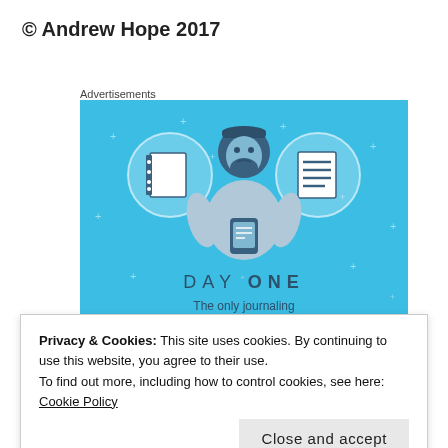© Andrew Hope 2017
Advertisements
[Figure (illustration): Day One journaling app advertisement. Blue background with illustrated person holding phone, flanked by two circular icons showing notebook and list. Text reads 'DAY ONE – The only journaling app you'll ever need.' with a button partially visible.]
Privacy & Cookies: This site uses cookies. By continuing to use this website, you agree to their use.
To find out more, including how to control cookies, see here: Cookie Policy
Close and accept